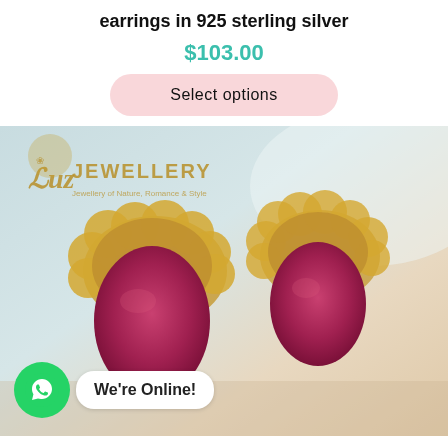earrings in 925 sterling silver
$103.00
Select options
[Figure (photo): Product photo of two ruby gemstone earrings with gold floral setting, displayed against a light blue/cream background with Luz Jewellery watermark logo in top left corner.]
We're Online!